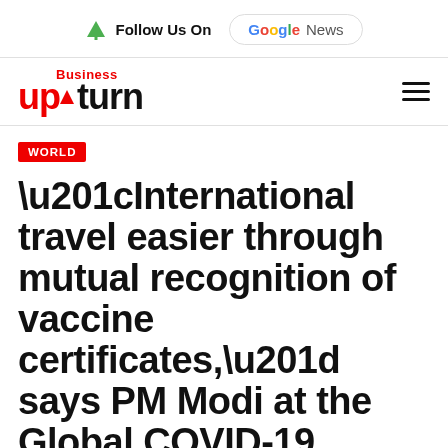Follow Us On | Google News
[Figure (logo): Business Upturn logo with red arrow icon]
WORLD
“International travel easier through mutual recognition of vaccine certificates,” says PM Modi at the Global COVID-19 summit